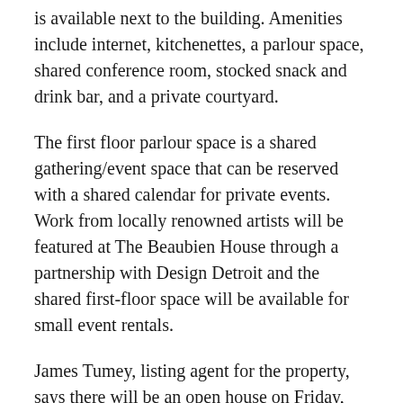is available next to the building. Amenities include internet, kitchenettes, a parlour space, shared conference room, stocked snack and drink bar, and a private courtyard.
The first floor parlour space is a shared gathering/event space that can be reserved with a shared calendar for private events. Work from locally renowned artists will be featured at The Beaubien House through a partnership with Design Detroit and the shared first-floor space will be available for small event rentals.
James Tumey, listing agent for the property, says there will be an open house on Friday, April 21 from 12 p.m. to 3 p.m. for anyone who wants to see the new space. The house is located at 553 East Jefferson. Pricing is listed below.